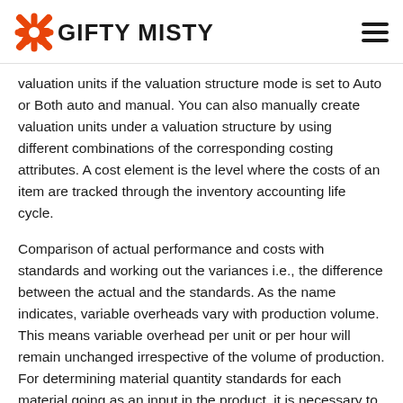GIFTY MISTY
valuation units if the valuation structure mode is set to Auto or Both auto and manual. You can also manually create valuation units under a valuation structure by using different combinations of the corresponding costing attributes. A cost element is the level where the costs of an item are tracked through the inventory accounting life cycle.
Comparison of actual performance and costs with standards and working out the variances i.e., the difference between the actual and the standards. As the name indicates, variable overheads vary with production volume. This means variable overhead per unit or per hour will remain unchanged irrespective of the volume of production. For determining material quantity standards for each material going as an input in the product, it is necessary to develop a product design and material specification in a scientific manner on the basis of experiments/test runs. The standards should be